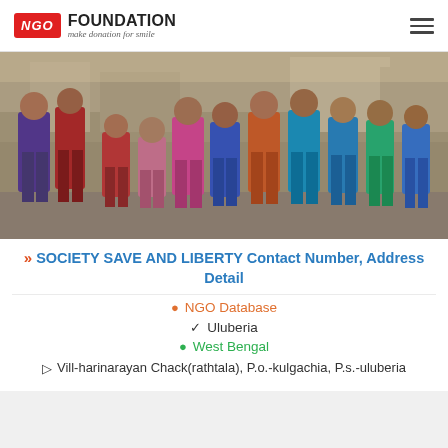NGO FOUNDATION - make donation for smile
[Figure (photo): Group photo of children standing together outdoors in an urban/slum setting, wearing colorful clothes]
>> SOCIETY SAVE AND LIBERTY Contact Number, Address Detail
NGO Database
Uluberia
West Bengal
Vill-harinarayan Chack(rathtala), P.o.-kulgachia, P.s.-uluberia